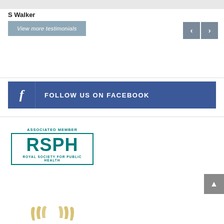S Walker
View more testimonials
[Figure (other): Navigation back and forward arrow buttons in grey]
[Figure (other): Follow us on Facebook banner button with Facebook icon and text 'FOLLOW US ON FACEBOOK']
[Figure (logo): RSPH Associated Member logo - Royal Society for Public Health, teal/green bordered rectangle with large RSPH letters]
[Figure (other): Scroll to top button, grey square with upward arrow]
[Figure (other): Partial award badge with laurel leaves visible at bottom of page]